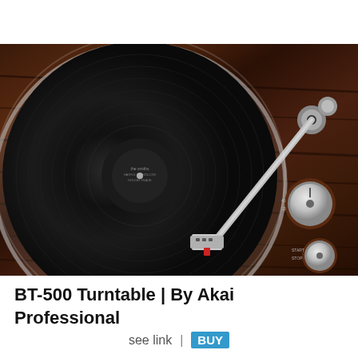[Figure (photo): Close-up photo of a BT-500 turntable by Akai Professional, showing a vinyl record on the platter, a tonearm with cartridge and stylus visible, and two silver control knobs on a dark wood-grain finish chassis.]
BT-500 Turntable | By Akai Professional
see link | BUY